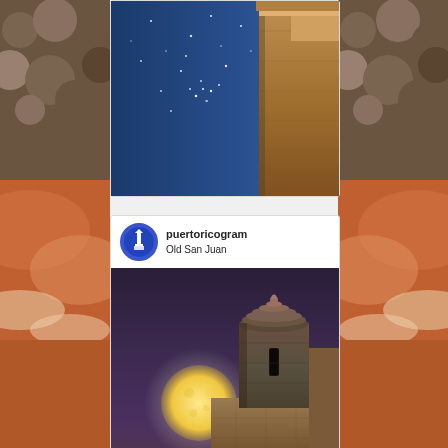[Figure (photo): Partially visible Instagram post showing a nighttime photo of an old stone fortress wall with a starry blue sky, shot from below. Background shows blurred orange/sunset landscape images on left and right edges.]
puertoricogram
Old San Juan
[Figure (photo): Instagram post photo showing a full moon rising beside a historical Spanish colonial fortress sentry box (garrita) in Old San Juan, Puerto Rico. The sky is a deep purple/mauve tone, and the warm golden moon is prominently featured in the left-center of the image.]